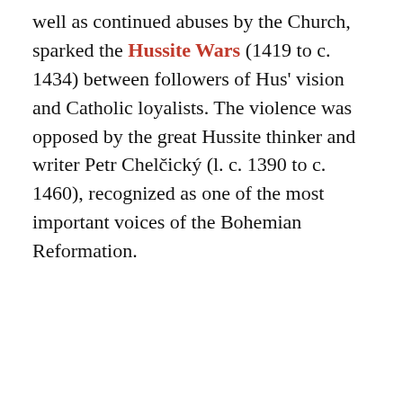well as continued abuses by the Church, sparked the Hussite Wars (1419 to c. 1434) between followers of Hus' vision and Catholic loyalists. The violence was opposed by the great Hussite thinker and writer Petr Chelčický (l. c. 1390 to c. 1460), recognized as one of the most important voices of the Bohemian Reformation.
ADVERTISEMENT
REMOVE ADS